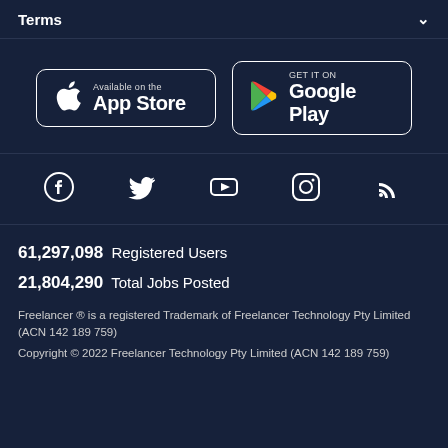Terms
[Figure (screenshot): App Store and Google Play download buttons]
[Figure (infographic): Social media icons: Facebook, Twitter, YouTube, Instagram, RSS]
61,297,098  Registered Users
21,804,290  Total Jobs Posted
Freelancer ® is a registered Trademark of Freelancer Technology Pty Limited (ACN 142 189 759)
Copyright © 2022 Freelancer Technology Pty Limited (ACN 142 189 759)